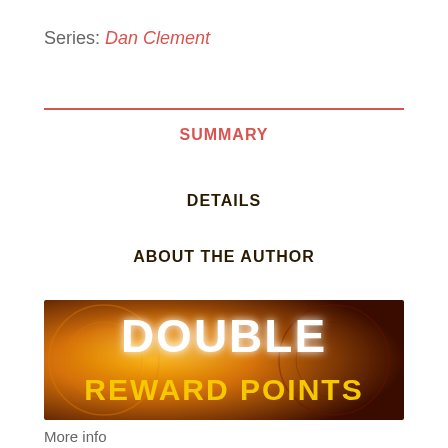Series: Dan Clement
SUMMARY
DETAILS
ABOUT THE AUTHOR
[Figure (illustration): Promotional banner with text 'DOUBLE REWARD POINTS' on a warm orange and brown background with decorative leaf patterns. 'DOUBLE' appears in large white glowing letters and 'REWARD POINTS' appears in large gold letters below.]
More info